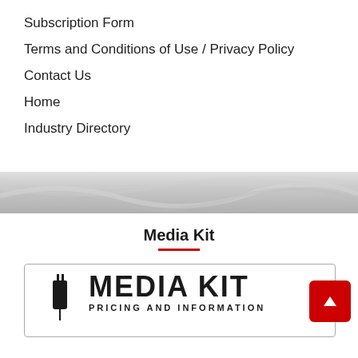Subscription Form
Terms and Conditions of Use / Privacy Policy
Contact Us
Home
Industry Directory
[Figure (photo): Grayscale decorative banner image showing swirling paper or fabric texture]
Media Kit
[Figure (infographic): Media Kit promotional box with plug icon, bold text MEDIA KIT PRICING AND INFORMATION, and a red arrow-up button]